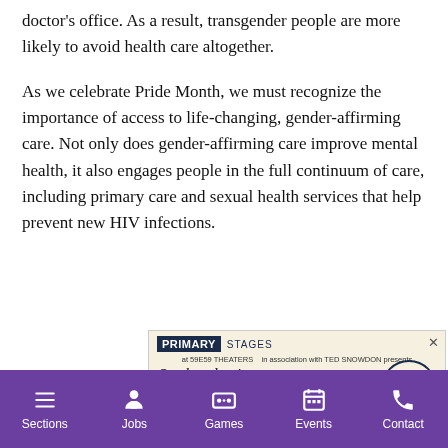doctor's office. As a result, transgender people are more likely to avoid health care altogether.
As we celebrate Pride Month, we must recognize the importance of access to life-changing, gender-affirming care. Not only does gender-affirming care improve mental health, it also engages people in the full continuum of care, including primary care and sexual health services that help prevent new HIV infections.
[Figure (screenshot): Advertisement for Primary Stages at 59E59 Theaters, in association with Ted Snowdon presents 'On that day in Amsterdam' by Clarence... with Buy Tickets Now! button]
Sections | Jobs | Games | Events | Contact